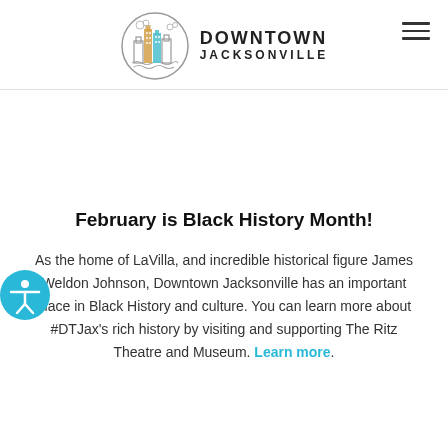DOWNTOWN JACKSONVILLE
[Figure (logo): Downtown Jacksonville circular logo with stylized city skyline buildings in orange and teal, inside a circle]
February is Black History Month!
As the home of LaVilla, and incredible historical figure James Weldon Johnson, Downtown Jacksonville has an important place in Black History and culture. You can learn more about #DTJax's rich history by visiting and supporting The Ritz Theatre and Museum. Learn more.